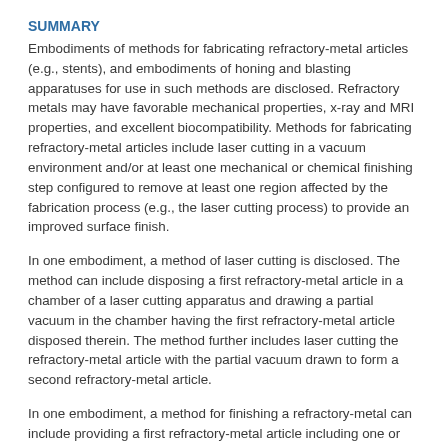SUMMARY
Embodiments of methods for fabricating refractory-metal articles (e.g., stents), and embodiments of honing and blasting apparatuses for use in such methods are disclosed. Refractory metals may have favorable mechanical properties, x-ray and MRI properties, and excellent biocompatibility. Methods for fabricating refractory-metal articles include laser cutting in a vacuum environment and/or at least one mechanical or chemical finishing step configured to remove at least one region affected by the fabrication process (e.g., the laser cutting process) to provide an improved surface finish.
In one embodiment, a method of laser cutting is disclosed. The method can include disposing a first refractory-metal article in a chamber of a laser cutting apparatus and drawing a partial vacuum in the chamber having the first refractory-metal article disposed therein. The method further includes laser cutting the refractory-metal article with the partial vacuum drawn to form a second refractory-metal article.
In one embodiment, a method for finishing a refractory-metal can include providing a first refractory-metal article including one or more regions affected by at least one manufacturing process. The one or more regions include at least one of a heat-affected zone, dross, a slag, an oxide-rich zone, an island, a burr, or a score mark. The method further includes